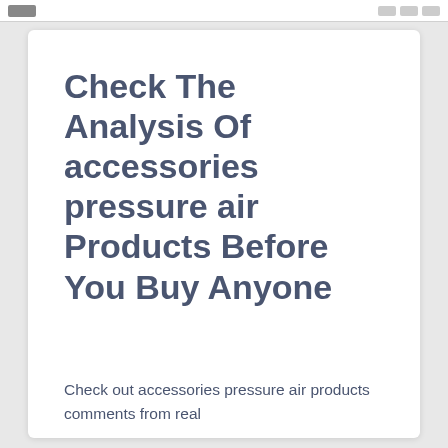Check The Analysis Of accessories pressure air Products Before You Buy Anyone
Check out accessories pressure air products comments from real